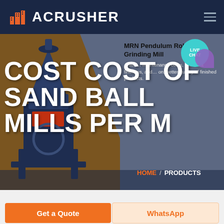ACRUSHER
COST COST OF SAND BALL MILLS PER M
[Figure (screenshot): Industrial grinding machine (MRN Pendulum Roller Grinding Mill) in dark navy/orange color scheme shown on brown background]
MRN Pendulum Roller Grinding Mill
Low maintenance costs, excellent fineness, and better quality of finished products.
HOME / PRODUCTS
Get a Quote
WhatsApp